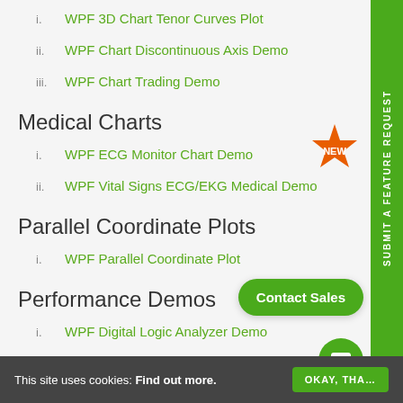i. WPF 3D Chart Tenor Curves Plot
ii. WPF Chart Discontinuous Axis Demo
iii. WPF Chart Trading Demo
Medical Charts
i. WPF ECG Monitor Chart Demo
ii. WPF Vital Signs ECG/EKG Medical Demo
Parallel Coordinate Plots
i. WPF Parallel Coordinate Plot
Performance Demos
i. WPF Digital Logic Analyzer Demo
ii. WPF Fast Paletted Scatter Chart Example
iii. WPF Chart Load 1Million Points Instantly
This site uses cookies: Find out more.